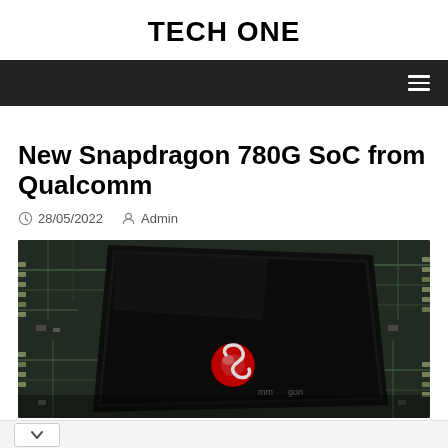TECH ONE
[Figure (screenshot): Dark navigation bar with hamburger menu icon on the right]
New Snapdragon 780G SoC from Qualcomm
28/05/2022   Admin
[Figure (photo): Close-up photo of a Qualcomm Snapdragon chip on a circuit board, showing the chip's black surface with the Snapdragon logo (red S shape) and partial text 'mm' and 'gon' visible]